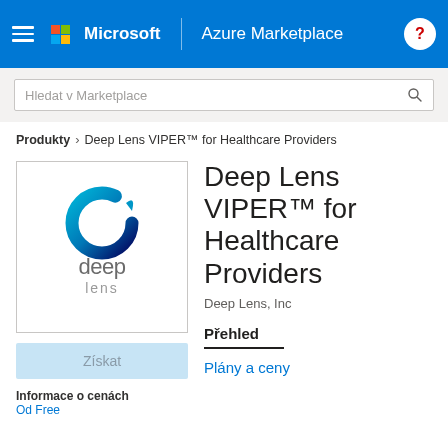Microsoft | Azure Marketplace
Hledat v Marketplace
Produkty > Deep Lens VIPER™ for Healthcare Providers
[Figure (logo): Deep Lens logo — circular teal/blue gradient ring icon above the text 'deep lens' in grey]
Deep Lens VIPER™ for Healthcare Providers
Deep Lens, Inc
Přehled
Plány a ceny
Získat
Informace o cenách
Od Free